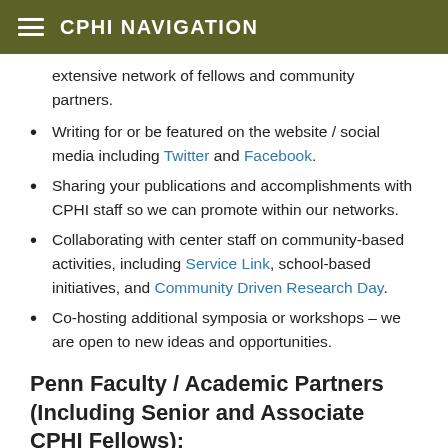CPHI NAVIGATION
extensive network of fellows and community partners.
Writing for or be featured on the website / social media including Twitter and Facebook.
Sharing your publications and accomplishments with CPHI staff so we can promote within our networks.
Collaborating with center staff on community-based activities, including Service Link, school-based initiatives, and Community Driven Research Day.
Co-hosting additional symposia or workshops – we are open to new ideas and opportunities.
Penn Faculty / Academic Partners (Including Senior and Associate CPHI Fellows):
Teaching in the Master of Public Health (MPH) Program or